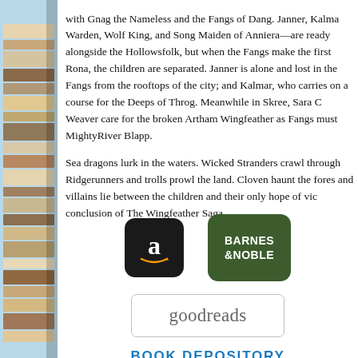with Gnag the Nameless and the Fangs of Dang. Janner, Kalma Warden, Wolf King, and Song Maiden of Anniera—are ready alongside the Hollowsfolk, but when the Fangs make the first Rona, the children are separated. Janner is alone and lost in the Fangs from the rooftops of the city; and Kalmar, who carries on a course for the Deeps of Throg. Meanwhile in Skree, Sara C Weaver care for the broken Artham Wingfeather as Fangs must MightyRiver Blapp.
Sea dragons lurk in the waters. Wicked Stranders crawl through Ridgerunners and trolls prowl the land. Cloven haunt the fores and villains lie between the children and their only hope of vic conclusion of The Wingfeather Saga.
[Figure (logo): Amazon logo button — black rounded square with stylized white 'a' and orange arrow]
[Figure (logo): Barnes & Noble logo button — dark green rounded square with white bold text 'BARNES & NOBLE']
[Figure (logo): Goodreads logo — rounded rectangle border with 'goodreads' text in gray serif font]
BOOK DEPOSITORY